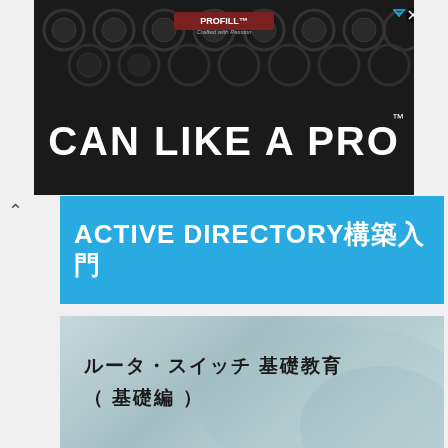[Figure (photo): Advertisement banner showing beer cans with text 'PROFILL CAN LIKE A PRO' on dark background with close/play buttons]
ACTIVE DIRECTORY構築入門
[Figure (photo): Course thumbnail image with light teal/mint background showing Japanese text: ルータ・スイッチ 基礎教育（基礎編）]